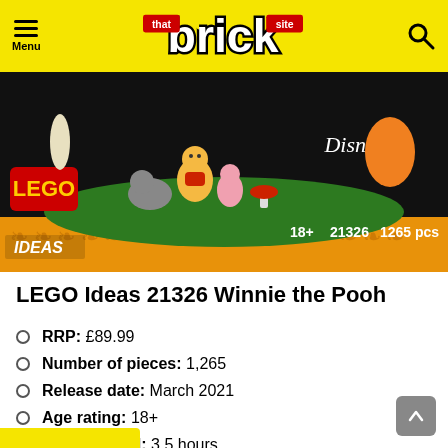that brick site — Menu / Search
[Figure (photo): LEGO Ideas 21326 Winnie the Pooh product box showing characters including Winnie the Pooh, Piglet, Eeyore, Rabbit, Tigger. Box shows 18+, 21326, 1265 pcs. Disney logo visible. IDEAS branding at bottom.]
LEGO Ideas 21326 Winnie the Pooh
RRP: £89.99
Number of pieces: 1,265
Release date: March 2021
Age rating: 18+
Time to build: 3.5 hours